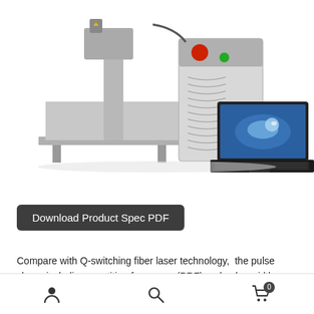[Figure (photo): Laser marking machine with control unit and laptop computer on white background. The machine has a metal platform with vertical column and laser head, a silver control box with red and green buttons, and an Acer laptop showing a water droplet screensaver.]
Download Product Spec PDF
Compare with Q-switching fiber laser technology,  the pulse shape including repetition frequency (PRF) and pulse width can be controlled independently in the LaserWares™ series MOPA